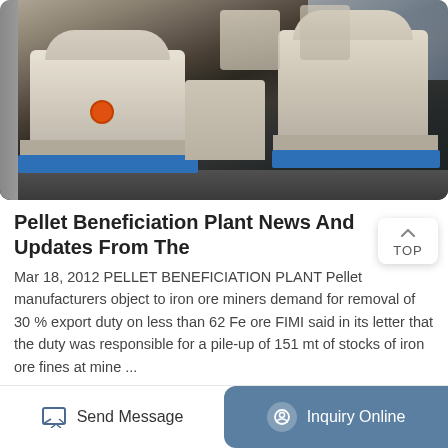[Figure (photo): Industrial pellet beneficiation plant machinery — large cream/beige colored grinding or milling machines on a dark factory floor with blue bases, inside a large industrial building]
Pellet Beneficiation Plant News And Updates From The
Mar 18, 2012 PELLET BENEFICIATION PLANT Pellet manufacturers object to iron ore miners demand for removal of 30 % export duty on less than 62 Fe ore FIMI said in its letter that the duty was responsible for a pile-up of 151 mt of stocks of iron ore fines at mine ...
More Details
Send Message   Inquiry Online